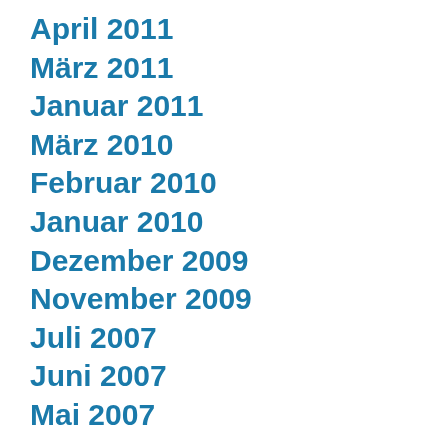April 2011
März 2011
Januar 2011
März 2010
Februar 2010
Januar 2010
Dezember 2009
November 2009
Juli 2007
Juni 2007
Mai 2007